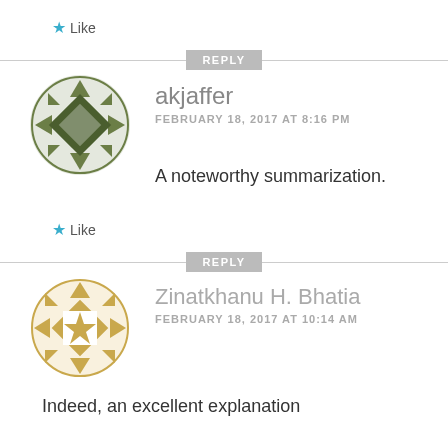Like
REPLY
[Figure (illustration): Green geometric avatar icon for user akjaffer]
akjaffer
FEBRUARY 18, 2017 AT 8:16 PM
A noteworthy summarization.
Like
REPLY
[Figure (illustration): Gold geometric avatar icon for user Zinatkhanu H. Bhatia]
Zinatkhanu H. Bhatia
FEBRUARY 18, 2017 AT 10:14 AM
Indeed, an excellent explanation